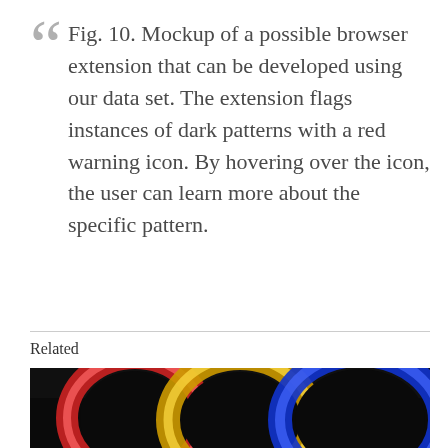Fig. 10. Mockup of a possible browser extension that can be developed using our data set. The extension flags instances of dark patterns with a red warning icon. By hovering over the icon, the user can learn more about the specific pattern.
Related
[Figure (photo): Photo of three neon ring lights (red, yellow, blue) on a dark background, cropped to show the top portion.]